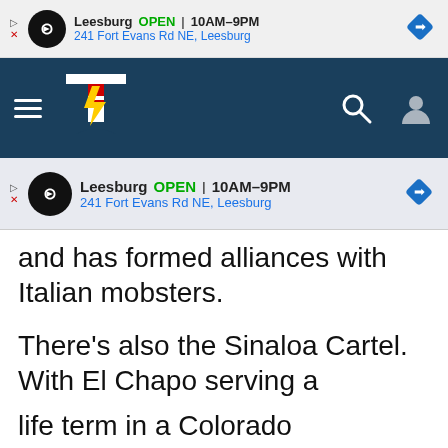[Figure (screenshot): Ad banner: Leesburg OPEN 10AM-9PM, 241 Fort Evans Rd NE, Leesburg]
[Figure (screenshot): Navigation bar with hamburger menu, Townhall logo, search and user icons]
[Figure (screenshot): Second ad banner: Leesburg OPEN 10AM-9PM, 241 Fort Evans Rd NE, Leesburg]
and has formed alliances with Italian mobsters.
There's also the Sinaloa Cartel. With El Chapo serving a
life term in a Colorado maximum-